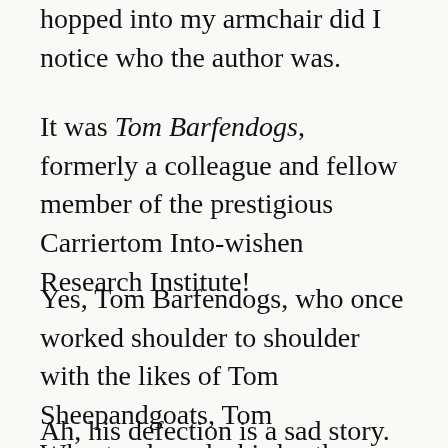hopped into my armchair did I notice who the author was.
It was Tom Barfendogs, formerly a colleague and fellow member of the prestigious Carriertom Into-wishen Research Institute!
Yes, Tom Barfendogs, who once worked shoulder to shoulder with the likes of Tom Sheepandgoats, Tom Wheatandweeds, his brother Tom Weedsandwheat, Tom Fishandchips, and Tom Pearlsenswine.
Ah, his defection is a sad story. For I readily concede that he was a smart